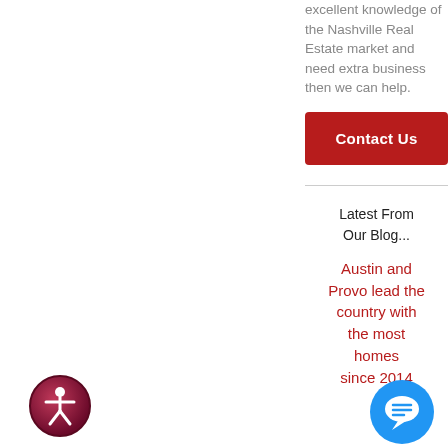excellent knowledge of the Nashville Real Estate market and need extra business then we can help.
Contact Us
Latest From Our Blog...
Austin and Provo lead the country with the most homes sold since 2014
[Figure (illustration): Accessibility icon: circular badge with gradient from dark red/maroon to lighter pink/red, containing a white stylized person figure with outstretched arms, similar to the wheelchair accessibility symbol but standing]
[Figure (illustration): Chat/support bubble icon: blue circle with white speech bubble containing a stylized chat symbol]